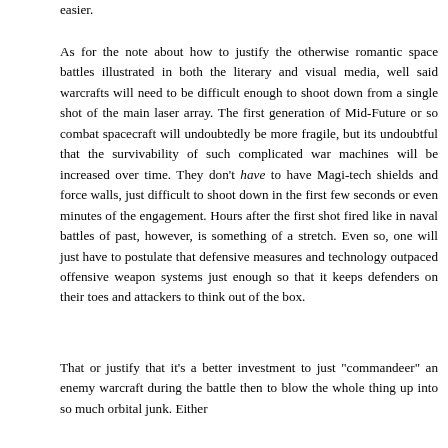easier.
As for the note about how to justify the otherwise romantic space battles illustrated in both the literary and visual media, well said warcrafts will need to be difficult enough to shoot down from a single shot of the main laser array. The first generation of Mid-Future or so combat spacecraft will undoubtedly be more fragile, but its undoubtful that the survivability of such complicated war machines will be increased over time. They don't have to have Magi-tech shields and force walls, just difficult to shoot down in the first few seconds or even minutes of the engagement. Hours after the first shot fired like in naval battles of past, however, is something of a stretch. Even so, one will just have to postulate that defensive measures and technology outpaced offensive weapon systems just enough so that it keeps defenders on their toes and attackers to think out of the box.
That or justify that it's a better investment to just "commandeer" an enemy warcraft during the battle then to blow the whole thing up into so much orbital junk. Either way it won't be easy on the writer's part.